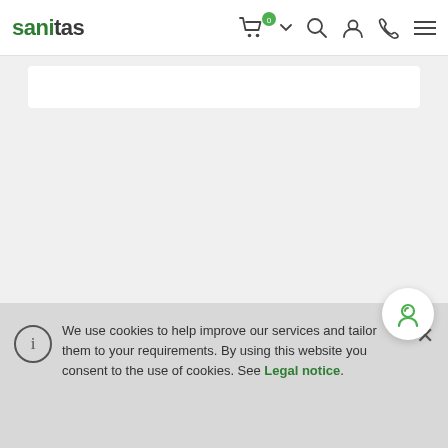sanitas
[Figure (screenshot): Main content area with white card at top on grey background]
[Figure (illustration): Green circular agent/support icon button]
We use cookies to help improve our services and tailor them to your requirements. By using this website you consent to the use of cookies. See Legal notice.